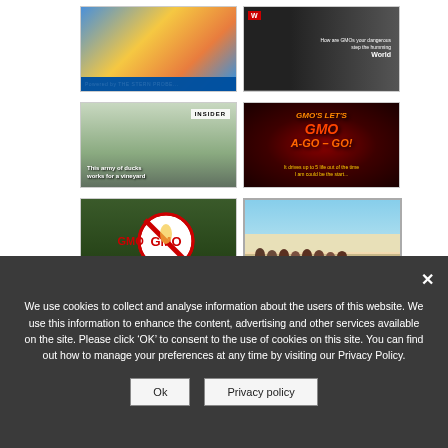[Figure (screenshot): Top-left thumbnail: colorful TV show thumbnail with blue and orange tones and a blue banner at the bottom]
[Figure (screenshot): Top-right thumbnail: dark background with a person, red badge logo top-left, white text on right side]
[Figure (screenshot): Middle-left thumbnail: ducks/crowd scene with INSIDER badge top-right and caption 'This army of ducks works for a vineyard']
[Figure (screenshot): Middle-right thumbnail: dark red background with orange/yellow text 'GMO A-GO-GO!' title]
[Figure (screenshot): Bottom-left thumbnail: green cornfield background with large red prohibition circle over 'GMO' text]
[Figure (screenshot): Bottom-right thumbnail: beach scene with group of people lying on sand near ocean]
We use cookies to collect and analyse information about the users of this website. We use this information to enhance the content, advertising and other services available on the site. Please click ‘OK’ to consent to the use of cookies on this site. You can find out how to manage your preferences at any time by visiting our Privacy Policy.